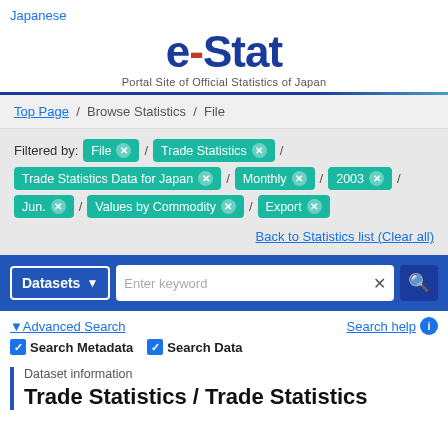Japanese
[Figure (logo): e-Stat logo — Portal Site of Official Statistics of Japan]
Top Page / Browse Statistics / File
Filtered by: File × / Trade Statistics × / Trade Statistics Data for Japan × / Monthly × / 2003 × / Jun. × / Values by Commodity × / Export ×
Back to Statistics list (Clear all)
Datasets  Enter keyword
Advanced Search
Search help
Search Metadata  Search Data
Dataset information
Trade Statistics / Trade Statistics